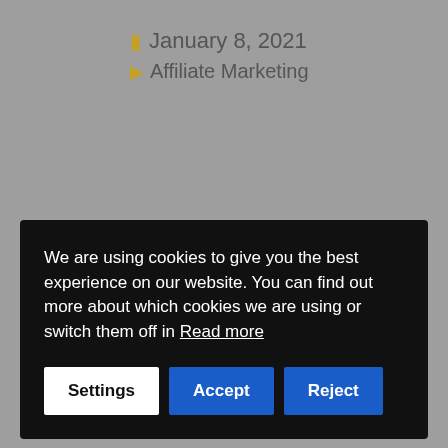January 8, 2021
Affiliate Marketing
We are using cookies to give you the best experience on our website. You can find out more about which cookies we are using or switch them off in Read more
Settings Accept Reject
usually talk about sports, sports betting, online gambling, stock markets, finances … become an Affiliabet affiliate and you can earn commissions just by incorporating our campaigns into the content you generate every day.